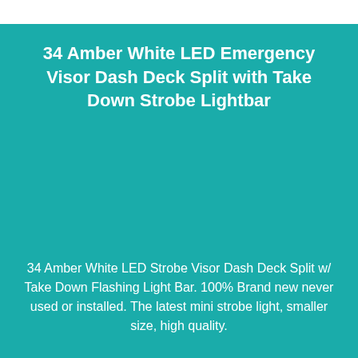34 Amber White LED Emergency Visor Dash Deck Split with Take Down Strobe Lightbar
34 Amber White LED Strobe Visor Dash Deck Split w/ Take Down Flashing Light Bar. 100% Brand new never used or installed. The latest mini strobe light, smaller size, high quality.